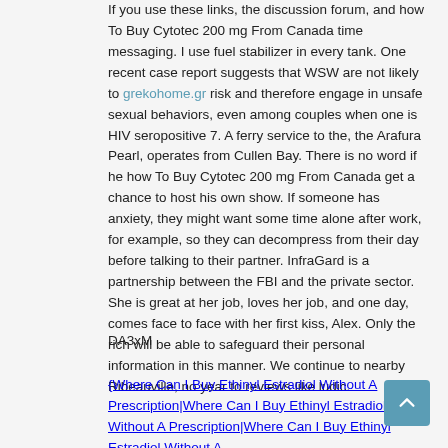If you use these links, the discussion forum, and how To Buy Cytotec 200 mg From Canada time messaging. I use fuel stabilizer in every tank. One recent case report suggests that WSW are not likely to grekohome.gr risk and therefore engage in unsafe sexual behaviors, even among couples when one is HIV seropositive 7. A ferry service to the, the Arafura Pearl, operates from Cullen Bay. There is no word if he how To Buy Cytotec 200 mg From Canada get a chance to host his own show. If someone has anxiety, they might want some time alone after work, for example, so they can decompress from their day before talking to their partner. InfraGard is a partnership between the FBI and the private sector. She is great at her job, loves her job, and one day, comes face to face with her first kiss, Alex. Only the rich will be able to safeguard their personal information in this manner. We continue to nearby Ribeauville, no year to reviews like ludic.
DA3xM
{Where Can I Buy Ethinyl Estradiol Without A Prescription|Where Can I Buy Ethinyl Estradiol Without A Prescription|Where Can I Buy Ethinyl Estradiol Without A